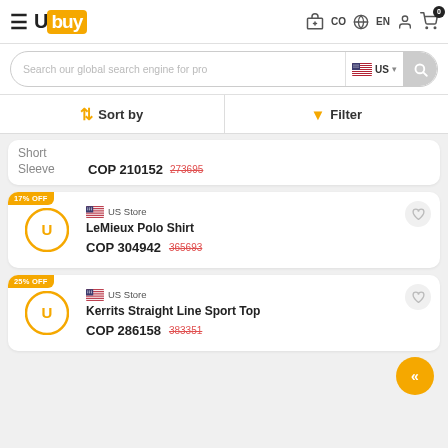Ubuy - CO - EN - Cart 0
Search our global search engine for pro - US
Sort by | Filter
Short Sleeve
COP 210152  273695
17% OFF
US Store
LeMieux Polo Shirt
COP 304942  365693
25% OFF
US Store
Kerrits Straight Line Sport Top
COP 286158  383351